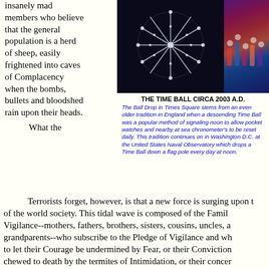insanely mad members who believe that the general population is a herd of sheep, easily frightened into caves of Complacency when the bombs, bullets and bloodshed rain upon their heads.
        What the
[Figure (photo): Snowflake/ball decoration ornament against dark background (Time Ball circa 2003 A.D.)]
[Figure (photo): Crowd scene, appears to be Times Square celebration]
THE TIME BALL CIRCA 2003 A.D.
The Ball Drop in Times Square stems from an even older tradition in England when a descending Time Ball was a popular method of signaling noon to allow pocket watches and nearby at sea chronometer's to be reset daily. This tradition continues on in Washington D.C. at the United States Naval Observatory which drops a Time Ball down a flag pole every day at noon.
Terrorists forget, however, is that a new force is surging upon the shores of the world society. This tidal wave is composed of the Family of Vigilance--mothers, fathers, brothers, sisters, cousins, uncles, and grandparents--who subscribe to the Pledge of Vigilance and who refuse to let their Courage be undermined by Fear, or their Conviction chewed to death by the termites of Intimidation, or their concern for taking the Right Actions that protect the Children's Children's Children to be stopped by a wall of Complacency.
        The Terrorists--the bullies of the world who seek to threaten everyone in their path--forget there is a Vigilance Ball.
        The Vigilance Ball is a ceremony held by those who oppose threats to their children, grandchildren and loved ones. It occurs not once a year, when the final minute of the final hour of the past year expires, but each morning and each evening.